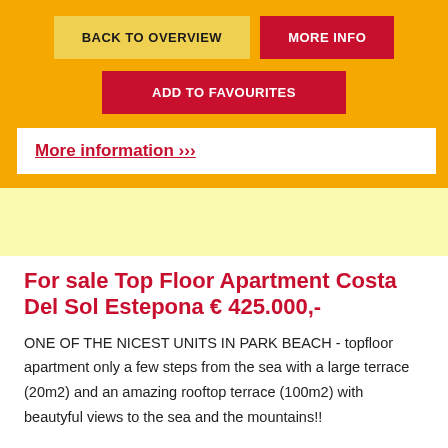BACK TO OVERVIEW
MORE INFO
ADD TO FAVOURITES
More information ›››
For sale Top Floor Apartment Costa Del Sol Estepona € 425.000,-
ONE OF THE NICEST UNITS IN PARK BEACH - topfloor apartment only a few steps from the sea with a large terrace (20m2) and an amazing rooftop terrace (100m2) with beautyful views to the sea and the mountains!!